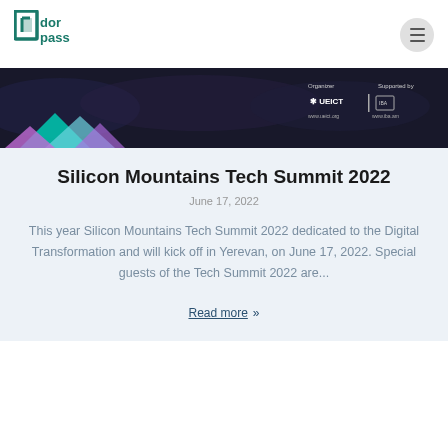[Figure (logo): DorPass logo — teal square bracket icon with text 'dor pass' in teal]
[Figure (photo): Dark banner photo of a conference audience with colorful geometric shapes (teal, purple, pink) in the lower left, and sponsor logos (Organizer: UEICT, Supported by: International Bank of Armenia) in the upper right]
Silicon Mountains Tech Summit 2022
June 17, 2022
This year Silicon Mountains Tech Summit 2022 dedicated to the Digital Transformation and will kick off in Yerevan, on June 17, 2022. Special guests of the Tech Summit 2022 are...
Read more »